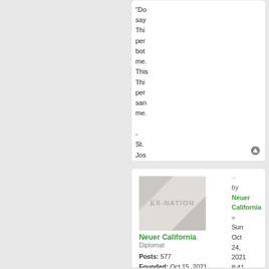"Do say Thi per bot me. This Thi per san me. - St. Jos Esc
[Figure (illustration): EX-NATION avatar placeholder image with diagonal grey stripes and 'EX-NATION' text]
Neuer California
Diplomat

Posts: 577
Founded: Oct 15, 2021
Ex-Nation
by Neuer California » Sun Oct 24, 2021 8:41 am